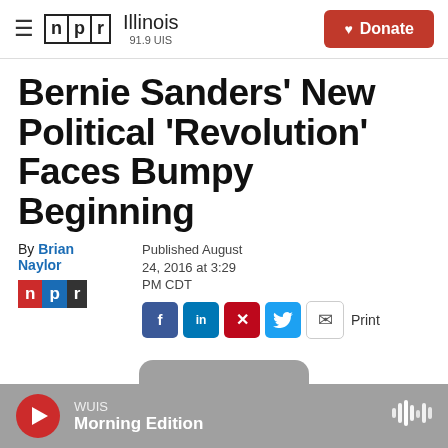NPR Illinois 91.9 UIS | Donate
Bernie Sanders' New Political 'Revolution' Faces Bumpy Beginning
By Brian Naylor
Published August 24, 2016 at 3:29 PM CDT
WUIS Morning Edition